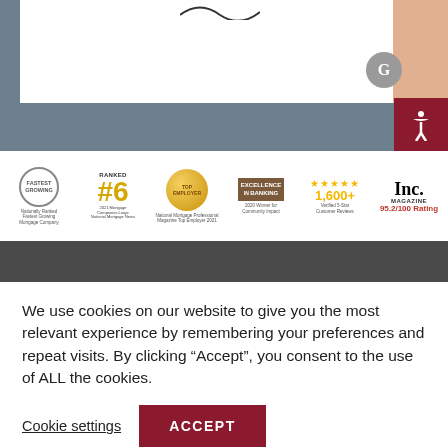[Figure (photo): Top portion of a mortgage company website showing a white content area with a person's arm visible on the right, a G badge, an accessibility button in dark red, all set against a blue-grey background.]
[Figure (infographic): Awards strip showing 6 awards: Nationally Ranked Fastest Growing Mortgage Company (circular badge), Ranked #6 2021 Mortgage Companies for Large Companies by National Mortgage News, National Mortgage Professional Magazine Top Employer 2021 (gold circle badge), Excellence in Banking 2020 Winner for Community Impact, 1,600+ Verified 5-Star Customer Reviews (gold stars), Inc. Magazine 95.2/100 Rating.]
We use cookies on our website to give you the most relevant experience by remembering your preferences and repeat visits. By clicking “Accept”, you consent to the use of ALL the cookies.
Cookie settings
ACCEPT